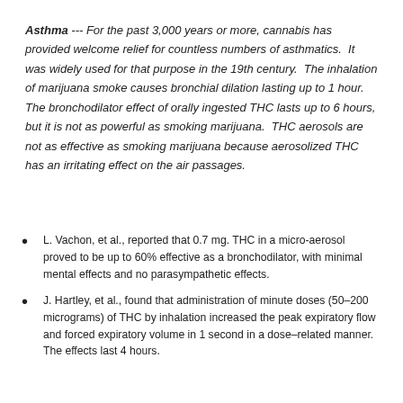Asthma --- For the past 3,000 years or more, cannabis has provided welcome relief for countless numbers of asthmatics. It was widely used for that purpose in the 19th century. The inhalation of marijuana smoke causes bronchial dilation lasting up to 1 hour. The bronchodilator effect of orally ingested THC lasts up to 6 hours, but it is not as powerful as smoking marijuana. THC aerosols are not as effective as smoking marijuana because aerosolized THC has an irritating effect on the air passages.
L. Vachon, et al., reported that 0.7 mg. THC in a micro-aerosol proved to be up to 60% effective as a bronchodilator, with minimal mental effects and no parasympathetic effects.
J. Hartley, et al., found that administration of minute doses (50–200 micrograms) of THC by inhalation increased the peak expiratory flow and forced expiratory volume in 1 second in a dose-related manner. The effects last 4 hours.